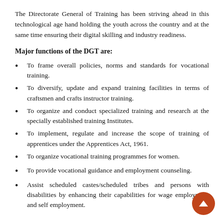The Directorate General of Training has been striving ahead in this technological age hand holding the youth across the country and at the same time ensuring their digital skilling and industry readiness.
Major functions of the DGT are:
To frame overall policies, norms and standards for vocational training.
To diversify, update and expand training facilities in terms of craftsmen and crafts instructor training.
To organize and conduct specialized training and research at the specially established training Institutes.
To implement, regulate and increase the scope of training of apprentices under the Apprentices Act, 1961.
To organize vocational training programmes for women.
To provide vocational guidance and employment counseling.
Assist scheduled castes/scheduled tribes and persons with disabilities by enhancing their capabilities for wage employment and self employment.